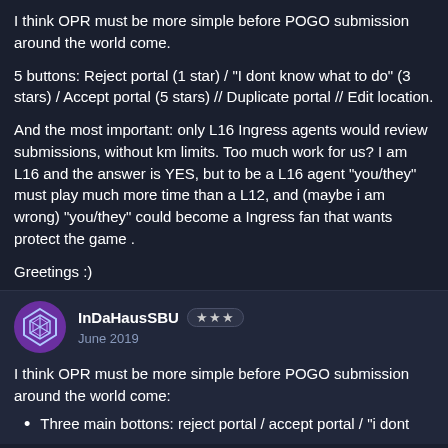I think OPR must be more simple before POGO submission around the world come.
5 buttons: Reject portal (1 star) / "I dont know what to do" (3 stars) / Accept portal (5 stars) // Duplicate portal // Edit location.
And the most important: only L16 Ingress agents would review submissions, without km limits. Too much work for us? I am L16 and the answer is YES, but to be a L16 agent "you/they" must play much more time than a L12, and (maybe i am wrong) "you/they" could become a Ingress fan that wants protect the game .
Greetings :)
InDaHausSBU
June 2019
I think OPR must be more simple before POGO submission around the world come:
Three main bottons: reject portal / accept portal / "i dont